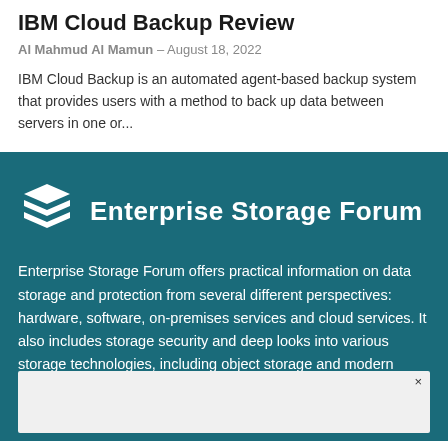IBM Cloud Backup Review
Al Mahmud Al Mamun – August 18, 2022
IBM Cloud Backup is an automated agent-based backup system that provides users with a method to back up data between servers in one or...
[Figure (logo): Enterprise Storage Forum logo: stylized stacked layers icon in white next to the text 'Enterprise Storage Forum' in white on teal background]
Enterprise Storage Forum offers practical information on data storage and protection from several different perspectives: hardware, software, on-premises services and cloud services. It also includes storage security and deep looks into various storage technologies, including object storage and modern parallel file systems. ESF is a wide breadth from storage inventory and ns, CTOs and informed the